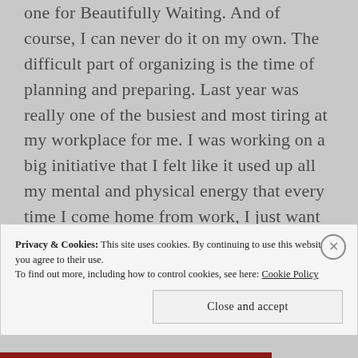one for Beautifully Waiting. And of course, I can never do it on my own. The difficult part of organizing is the time of planning and preparing. Last year was really one of the busiest and most tiring at my workplace for me. I was working on a big initiative that I felt like it used up all my mental and physical energy that every time I come home from work, I just want to go to bed. However, I trusted that God would sustain me as I took a step of faith in organizing those events. The good thing about those events were those
Privacy & Cookies: This site uses cookies. By continuing to use this website, you agree to their use.
To find out more, including how to control cookies, see here: Cookie Policy